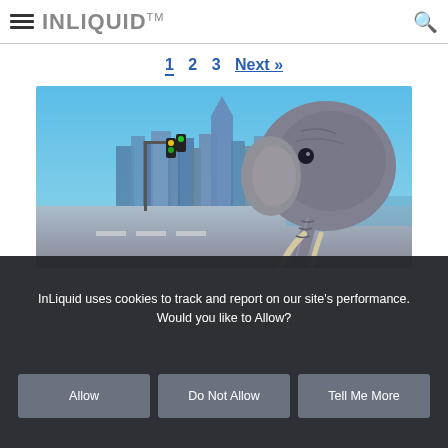INLIQUID™
1  2  3  Next »
[Figure (illustration): Painting of a large elephant walking through a city street intersection with a skyline (resembling Philadelphia) in the background and traffic lights overhead, under a blue sky.]
InLiquid uses cookies to track and report on our site's performance. Would you like to Allow?
Allow    Do Not Allow    Tell Me More